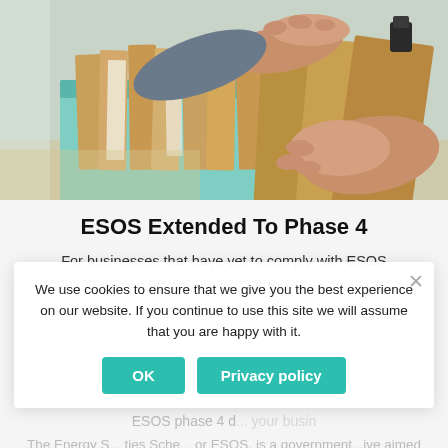[Figure (photo): Person's hands filing through manila folders in a teal/mint colored filing box on a desk]
ESOS Extended To Phase 4
For businesses that have yet to comply with ESOS requirements, a new announcement about the scheme's extension should be an ... ESOS phase 4 d... your busin...
We use cookies to ensure that we give you the best experience on our website. If you continue to use this site we will assume that you are happy with it.
The Energy S... ties Sche... or ESOS, is a governmentm... ive aimed at...